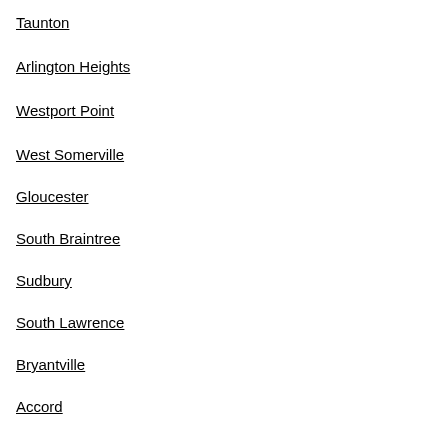Taunton
Arlington Heights
Westport Point
West Somerville
Gloucester
South Braintree
Sudbury
South Lawrence
Bryantville
Accord